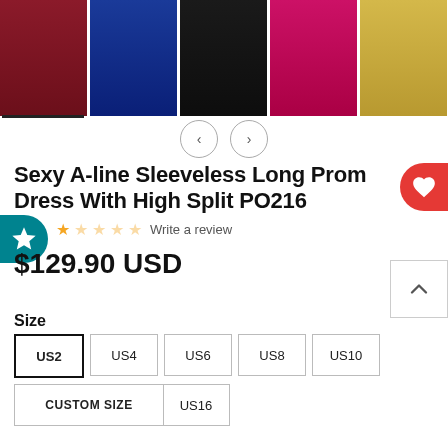[Figure (photo): Row of 5 product photos showing prom dresses in different colors: burgundy/red, royal blue, black, hot pink, and gold/yellow. Each dress is a long sleeveless A-line gown with high slit.]
Sexy A-line Sleeveless Long Prom Dress With High Split PO216
Write a review
$129.90 USD
Size
US2
US4
US6
US8
US10
US12
US14
US16
CUSTOM SIZE